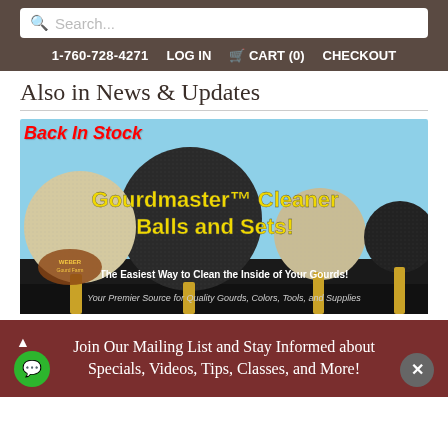Search... | 1-760-728-4271 | LOG IN | CART (0) | CHECKOUT
Also in News & Updates
[Figure (photo): Gourdmaster™ Cleaner Balls and Sets product advertisement banner. Shows multiple cleaning balls of different sizes on a light blue background. Text reads 'Back In Stock', 'Gourdmaster™ Cleaner Balls and Sets!', 'The Easiest Way to Clean the Inside of Your Gourds!', 'Your Premier Source for Quality Gourds, Colors, Tools, and Supplies'. Weber Gourd Farm logo visible.]
Join Our Mailing List and Stay Informed about Specials, Videos, Tips, Classes, and More!